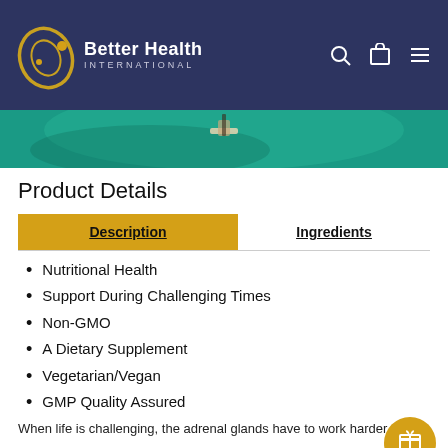[Figure (logo): Better Health International logo with orbital design in gold/yellow and white text on dark navy header background]
[Figure (photo): Aerial/overhead photo showing teal/green water with a figure visible, partial view at top of content area]
Product Details
Description
Ingredients
Nutritional Health
Support During Challenging Times
Non-GMO
A Dietary Supplement
Vegetarian/Vegan
GMP Quality Assured
When life is challenging, the adrenal glands have to work harder to